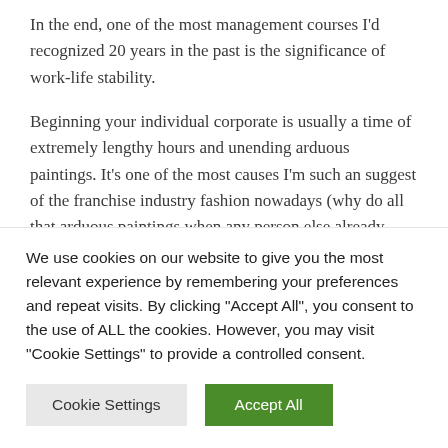In the end, one of the most management courses I'd recognized 20 years in the past is the significance of work-life stability.
Beginning your individual corporate is usually a time of extremely lengthy hours and unending arduous paintings. It's one of the most causes I'm such an suggest of the franchise industry fashion nowadays (why do all that arduous paintings when any person else already has?).
On every occasion you'll do the whole thing you'll to
We use cookies on our website to give you the most relevant experience by remembering your preferences and repeat visits. By clicking "Accept All", you consent to the use of ALL the cookies. However, you may visit "Cookie Settings" to provide a controlled consent.